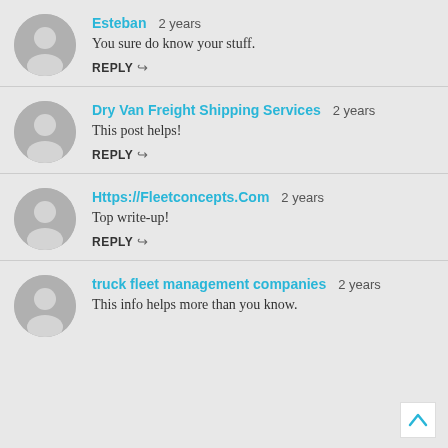Esteban  2 years
You sure do know your stuff.
REPLY ↪
Dry Van Freight Shipping Services  2 years
This post helps!
REPLY ↪
Https://Fleetconcepts.Com  2 years
Top write-up!
REPLY ↪
truck fleet management companies  2 years
This info helps more than you know.